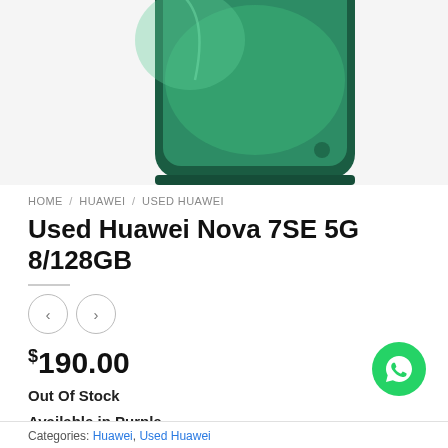[Figure (photo): Partial top view of a Huawei Nova 7SE 5G smartphone in green/teal color showing the screen and body]
HOME / HUAWEI / USED HUAWEI
Used Huawei Nova 7SE 5G 8/128GB
$190.00
Out Of Stock
Available in Purple
Huawei Singapore Warranty
Categories: Huawei, Used Huawei